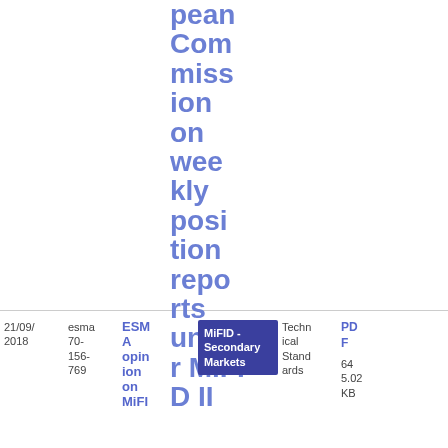pean Commission on weekly position reports under MiFID II
| Date | Reference | Title | Tag | Type | File |
| --- | --- | --- | --- | --- | --- |
| 21/09/2018 | esma 70-156-769 | ESMA opinion on MiFI... | MiFID - Secondary Markets | Technical Standards | PDF 64 5.02 KB |